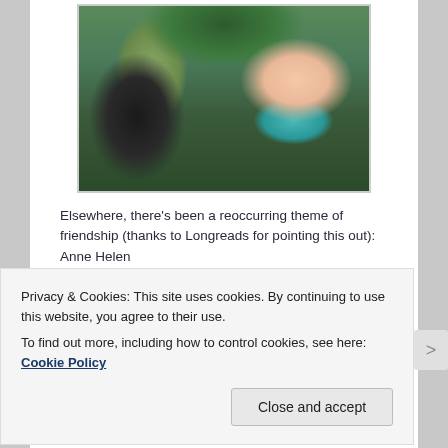[Figure (photo): Outdoor selfie photo of a young Asian woman with dark hair, wearing a teal/turquoise top, with trees and a wooden fence in the background]
Elsewhere, there's been a reoccurring theme of friendship (thanks to Longreads for pointing this out): Anne Helen
Privacy & Cookies: This site uses cookies. By continuing to use this website, you agree to their use.
To find out more, including how to control cookies, see here: Cookie Policy
Close and accept